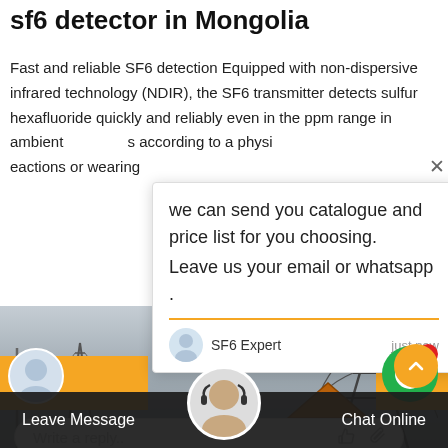sf6 detector in Mongolia
Fast and reliable SF6 detection Equipped with non-dispersive infrared technology (NDIR), the SF6 transmitter detects sulfur hexafluoride quickly and reliably even in the ppm range in ambient... s according to a physi... eactions or wearing...
we can send you catalogue and price list for you choosing.
Leave us your email or whatsapp .
SF6 Expert    just now
Write a reply..
[Figure (screenshot): Power transmission tower and house rooftop visible in background photo]
Leave Message
Chat Online